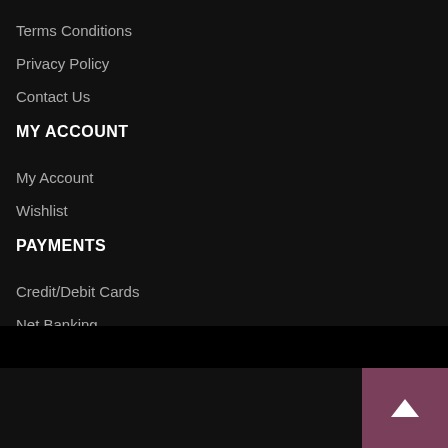Terms Conditions
Privacy Policy
Contact Us
MY ACCOUNT
My Account
Wishlist
PAYMENTS
Credit/Debit Cards
Net Banking